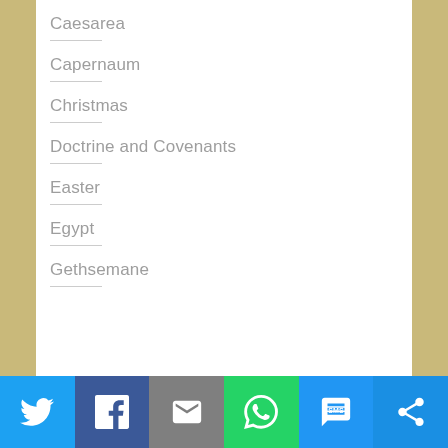Caesarea
Capernaum
Christmas
Doctrine and Covenants
Easter
Egypt
Gethsemane
[Figure (infographic): Social sharing bar with icons for Twitter, Facebook, Email, WhatsApp, SMS, and a share button]